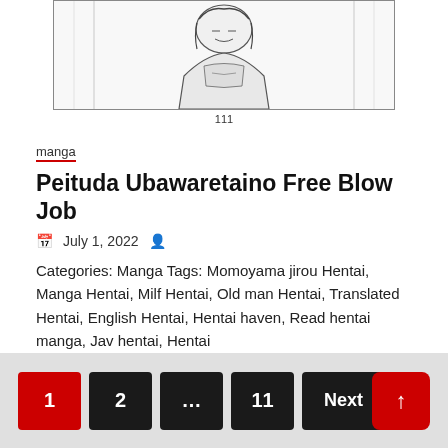[Figure (illustration): Manga/comic panel showing a sketched figure, with page number 111 below]
manga
Peituda Ubawaretaino Free Blow Job
July 1, 2022
Categories: Manga Tags: Momoyama jirou Hentai, Manga Hentai, Milf Hentai, Old man Hentai, Translated Hentai, English Hentai, Hentai haven, Read hentai manga, Jav hentai, Hentai
Read More
1  2  ...  11  Next